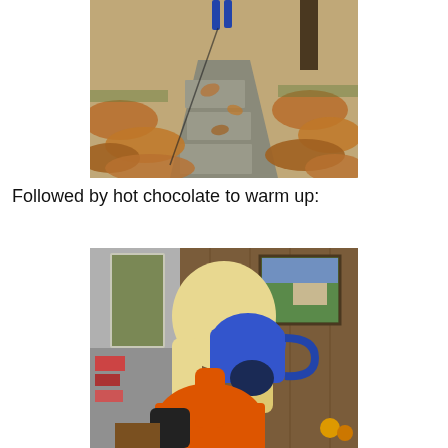[Figure (photo): Autumn leaf-covered stone pathway with a person walking, leaves scattered on both sides]
Followed by hot chocolate to warm up:
[Figure (photo): Blonde child in orange shirt drinking from a large blue mug, interior room with wood paneling and painting in background]